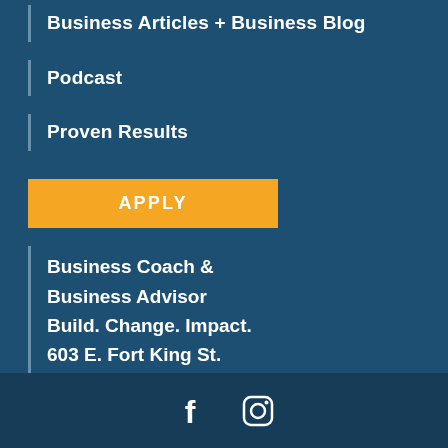Business Articles + Business Blog
Podcast
Proven Results
APPLY
Business Coach &
Business Advisor
Build. Change. Impact.
603 E. Fort King St.
Ocala, Florida 34471
Accessibility icon, Facebook icon, Instagram icon